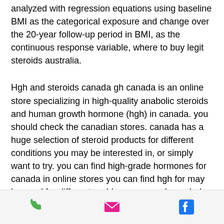analyzed with regression equations using baseline BMI as the categorical exposure and change over the 20-year follow-up period in BMI, as the continuous response variable, where to buy legit steroids australia.
Hgh and steroids canada gh canada is an online store specializing in high-quality anabolic steroids and human growth hormone (hgh) in canada. you should check the canadian stores. canada has a huge selection of steroid products for different conditions you may be interested in, or simply want to try. you can find high-grade hormones for canada in online stores you can find hgh for may be used for different problems. some alexandrols can be bought
[Figure (other): Bottom navigation bar with three icons: phone (green), email (pink/magenta), and Facebook (blue)]